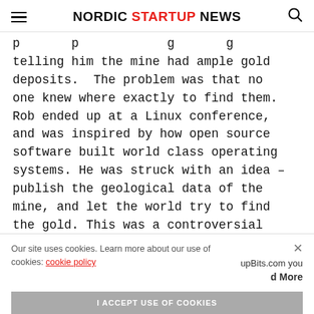NORDIC STARTUP NEWS
telling him the mine had ample gold deposits.  The problem was that no one knew where exactly to find them. Rob ended up at a Linux conference, and was inspired by how open source software built world class operating systems. He was struck with an idea – publish the geological data of the mine, and let the world try to find the gold. This was a controversial
Our site uses cookies. Learn more about our use of cookies: cookie policy
I ACCEPT USE OF COOKIES